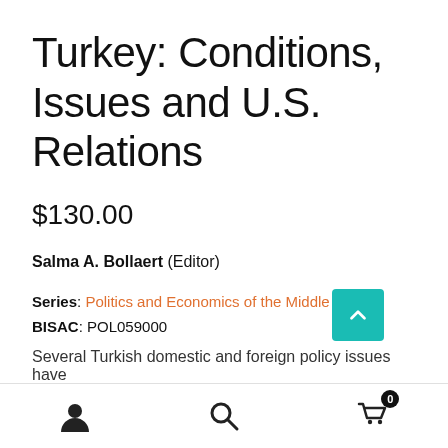Turkey: Conditions, Issues and U.S. Relations
$130.00
Salma A. Bollaert (Editor)
Series: Politics and Economics of the Middle East
BISAC: POL059000
Several Turkish domestic and foreign policy issues have